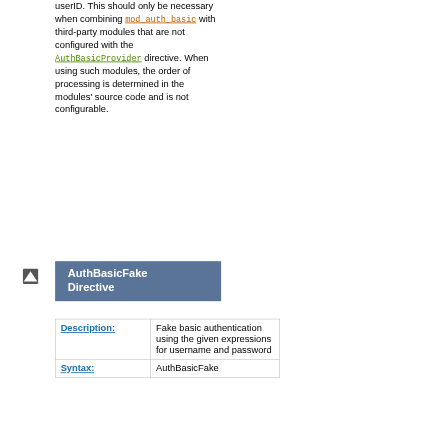userID. This should only be necessary when combining mod_auth_basic with third-party modules that are not configured with the AuthBasicProvider directive. When using such modules, the order of processing is determined in the modules' source code and is not configurable.
AuthBasicFake Directive
| Description: | Syntax: |
| --- | --- |
| Description: | Fake basic authentication using the given expressions for username and password |
| Syntax: | AuthBasicFake |